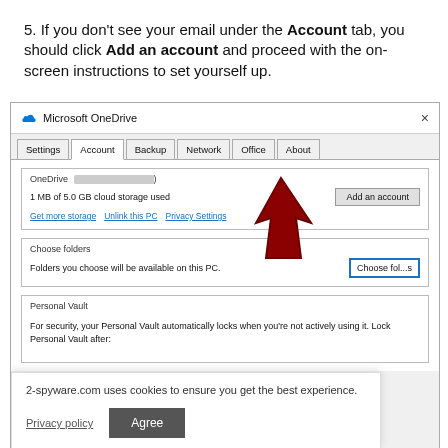5. If you don't see your email under the Account tab, you should click Add an account and proceed with the on-screen instructions to set yourself up.
[Figure (screenshot): Microsoft OneDrive settings dialog showing the Account tab with Add an account button highlighted by a red arrow, Choose folders section, Personal Vault section, and a cookie consent banner overlay at the bottom.]